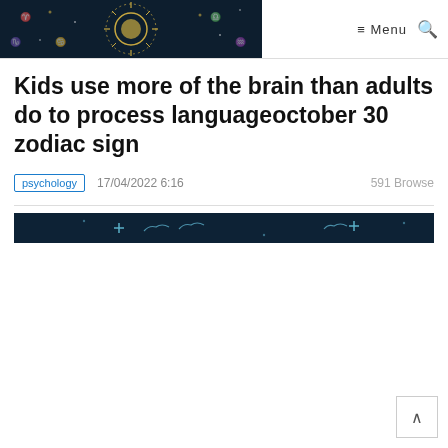Menu [search icon]
[Figure (illustration): Zodiac wheel illustration on dark background with golden sun in center, white constellation figures, stars and astrological symbols]
Kids use more of the brain than adults do to process languageoctober 30 zodiac sign
psychology   17/04/2022 6:16   591 Browse
[Figure (illustration): Dark navy banner image with bird silhouettes and star/cross symbols in teal/white]